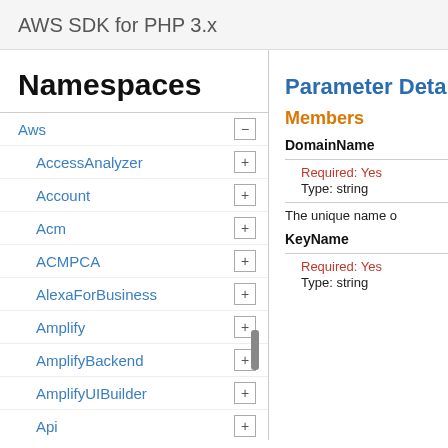AWS SDK for PHP 3.x
Namespaces
Aws
AccessAnalyzer
Account
Acm
ACMPCA
AlexaForBusiness
Amplify
AmplifyBackend
AmplifyUIBuilder
Api
ApiGateway
ApiGatewayManagementApi
Parameter Details
Members
DomainName
Required: Yes
Type: string
The unique name o
KeyName
Required: Yes
Type: string